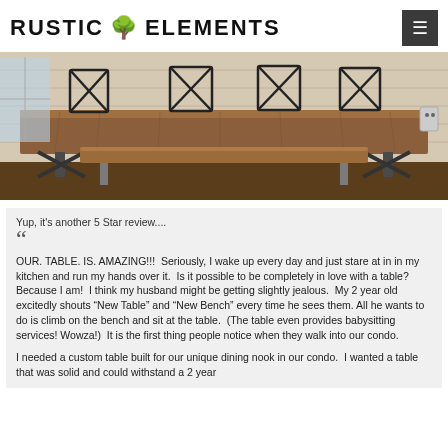RUSTIC ELEMENTS
[Figure (photo): A large rustic wooden dining table with metal X-back chairs and a wooden bench in a dining room with white shiplap walls and natural light from a window.]
Yup, it's another 5 Star review....
OUR. TABLE. IS. AMAZING!!!  Seriously, I wake up every day and just stare at in in my kitchen and run my hands over it.  Is it possible to be completely in love with a table? Because I am!  I think my husband might be getting slightly jealous.  My 2 year old excitedly shouts “New Table” and “New Bench” every time he sees them. All he wants to do is climb on the bench and sit at the table.  (The table even provides babysitting services! Wowza!)  It is the first thing people notice when they walk into our condo.
I needed a custom table built for our unique dining nook in our condo.  I wanted a table that was solid and could withstand a 2 year